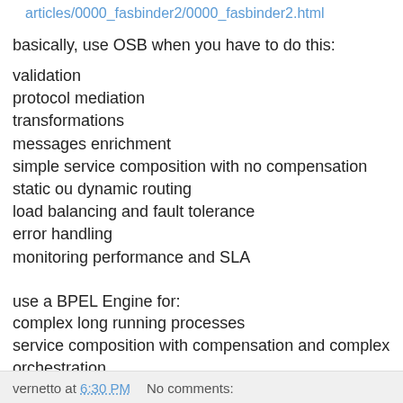articles/0000_fasbinder2/0000_fasbinder2.html
basically, use OSB when you have to do this:
validation
protocol mediation
transformations
messages enrichment
simple service composition with no compensation
static ou dynamic routing
load balancing and fault tolerance
error handling
monitoring performance and SLA
use a BPEL Engine for:
complex long running processes
service composition with compensation and complex orchestration
vernetto at 6:30 PM    No comments: